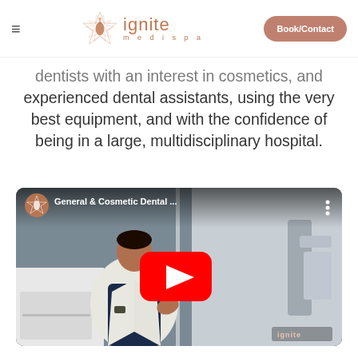ignite medispa — Book/Contact
dentists with an interest in cosmetics, and experienced dental assistants, using the very best equipment, and with the confidence of being in a large, multidisciplinary hospital.
[Figure (screenshot): YouTube video thumbnail showing a dentist in a white coat sitting in a dental office. Video title reads 'General & Cosmetic Dental ...' with the Ignite Medispa logo icon in the top left and a red YouTube play button overlay in the center.]